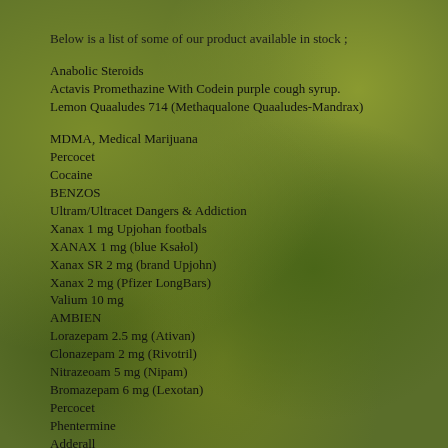Below is a list of some of our product available in stock ;
Anabolic Steroids
Actavis Promethazine With Codein purple cough syrup.
Lemon Quaaludes 714 (Methaqualone Quaaludes-Mandrax)
MDMA, Medical Marijuana
Percocet
Cocaine
BENZOS
Ultram/Ultracet Dangers & Addiction
Xanax 1 mg Upjohan footbals
XANAX 1 mg (blue Ksalol)
Xanax SR 2 mg (brand Upjohn)
Xanax 2 mg (Pfizer LongBars)
Valium 10 mg
AMBIEN
Lorazepam 2.5 mg (Ativan)
Clonazepam 2 mg (Rivotril)
Nitrazeoam 5 mg (Nipam)
Bromazepam 6 mg (Lexotan)
Percocet
Phentermine
Adderall